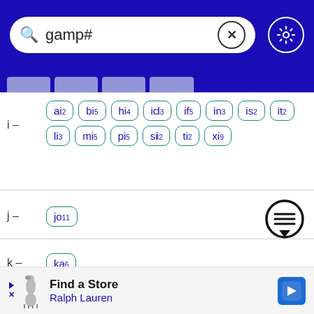[Figure (screenshot): Search bar with query 'gamp#', clear button (X circle), and gear/settings button on dark blue background]
i — ai2 bi5 hi4 id3 if5 in3 is2 it2 li3 mi5 pi5 si2 ti2 xi9
j — jo11
k — ka6
l — al3 el3 la3 li3 lo3
[Figure (other): Chat/message bubble icon with horizontal lines]
Find a Store
Ralph Lauren